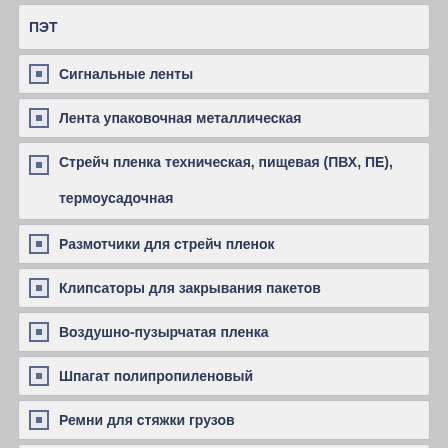ПЭТ
Сигнальные ленты
Лента упаковочная металлическая
Стрейч пленка техническая, пищевая (ПВХ, ПЕ), термоусадочная
Размотчики для стрейч пленок
Клипсаторы для закрывания пакетов
Воздушно-пузырчатая пленка
Шпагат полипропиленовый
Ремни для стяжки грузов
Двухсторонняя лента клейкая